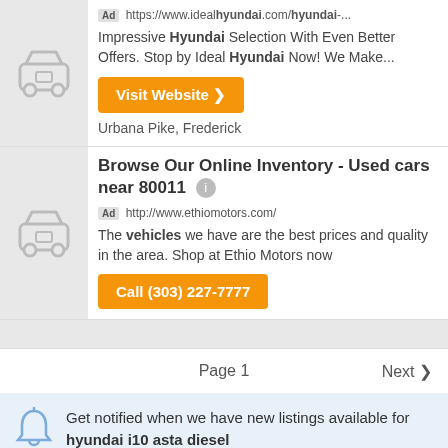[Figure (illustration): Gray car icon placeholder image]
Ad https://www.idealhyundai.com/hyundai-... Impressive Hyundai Selection With Even Better Offers. Stop by Ideal Hyundai Now! We Make...
Visit Website ❯
Urbana Pike, Frederick
[Figure (illustration): Gray car icon placeholder image]
Browse Our Online Inventory - Used cars near 80011
Ad http://www.ethiomotors.com/ The vehicles we have are the best prices and quality in the area. Shop at Ethio Motors now
Call (303) 227-7777
Page 1   Next ›
Get notified when we have new listings available for hyundai i10 asta diesel